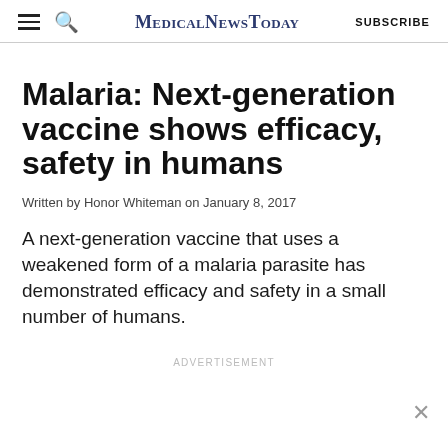MedicalNewsToday  SUBSCRIBE
Malaria: Next-generation vaccine shows efficacy, safety in humans
Written by Honor Whiteman on January 8, 2017
A next-generation vaccine that uses a weakened form of a malaria parasite has demonstrated efficacy and safety in a small number of humans.
ADVERTISEMENT